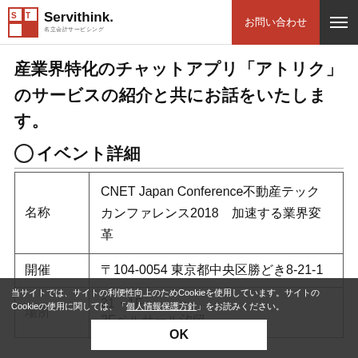Servithink. お問い合わせ ≡
産業界特化のチャットアプリ「アトリク」のサービスの紹介と共にお話をいたします。
○イベント詳細
|  |  |
| --- | --- |
| 名称 | CNET Japan Conference不動産テックカンファレンス2018　加速する業界変革 |
| 開催 | 〒104-0054 東京都中央区勝どき8-21-1 |
| 場所 | ベルサール汐留 1F・2Fベルサール汐留 |
当サイトでは、サイトの利便性向上のためCookieを使用しています。サイトのCookieの使用に関しては、「個人情報保護方針」をお読みください。